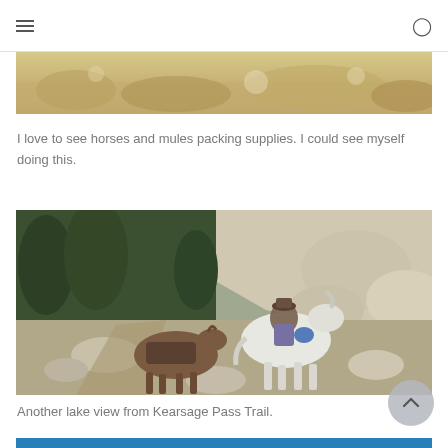Navigation menu and search icon
[Figure (photo): Partial view of a rocky, sandy landscape photo strip at the top of the page]
I love to see horses and mules packing supplies. I could see myself doing this.
[Figure (photo): A person riding a white horse leading pack mules along a rocky mountain trail, surrounded by boulders and evergreen trees. Appears to be on the Kearsage Pass Trail.]
Another lake view from Kearsage Pass Trail.